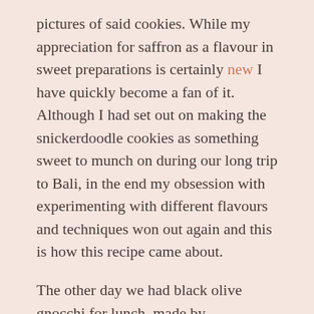pictures of said cookies. While my appreciation for saffron as a flavour in sweet preparations is certainly new I have quickly become a fan of it. Although I had set out on making the snickerdoodle cookies as something sweet to munch on during our long trip to Bali, in the end my obsession with experimenting with different flavours and techniques won out again and this is how this recipe came about.
The other day we had black olive gnocchi for lunch, made by pulverizing little dry black olives with flour before mixing the flour with cooked potatoes to make the gnocchi – giving the dumplings a dark brown speckled hue and a subtle black olive flavour. The idea for this black olive flour came from a recipe I saw on Masterchef a while back where the black olive flour